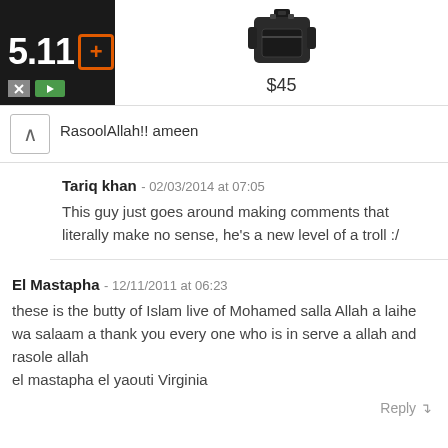[Figure (other): 5.11 tactical brand advertisement banner with logo on black background and product image of a black bag priced at $45]
RasoolAllah!! ameen
Tariq khan - 02/03/2014 at 07:05
This guy just goes around making comments that literally make no sense, he's a new level of a troll :/
El Mastapha - 12/11/2011 at 06:23
these is the butty of Islam live of Mohamed salla Allah a laihe wa salaam a thank you every one who is in serve a allah and rasole allah
el mastapha el yaouti Virginia
Reply